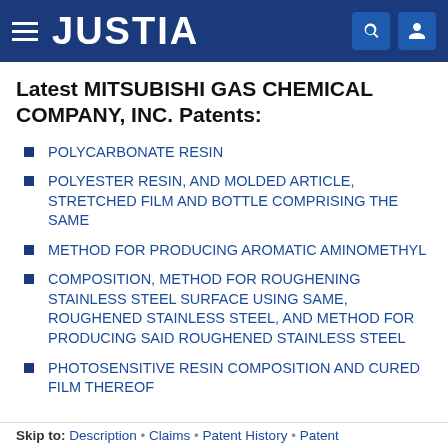JUSTIA
Latest MITSUBISHI GAS CHEMICAL COMPANY, INC. Patents:
POLYCARBONATE RESIN
POLYESTER RESIN, AND MOLDED ARTICLE, STRETCHED FILM AND BOTTLE COMPRISING THE SAME
METHOD FOR PRODUCING AROMATIC AMINOMETHYL
COMPOSITION, METHOD FOR ROUGHENING STAINLESS STEEL SURFACE USING SAME, ROUGHENED STAINLESS STEEL, AND METHOD FOR PRODUCING SAID ROUGHENED STAINLESS STEEL
PHOTOSENSITIVE RESIN COMPOSITION AND CURED FILM THEREOF
Skip to: Description • Claims • Patent History • Patent